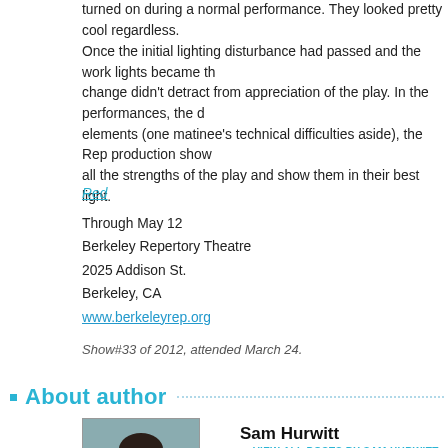turned on during a normal performance. They looked pretty cool regardless.
Once the initial lighting disturbance had passed and the work lights became the change didn't detract from appreciation of the play. In the performances, the d elements (one matinee's technical difficulties aside), the Rep production show all the strengths of the play and show them in their best light.
Red
Through May 12
Berkeley Repertory Theatre
2025 Addison St.
Berkeley, CA
www.berkeleyrep.org
Show#33 of 2012, attended March 24.
About author
[Figure (photo): Headshot photo of Sam Hurwitt, a man with dark hair and beard, outdoors]
Sam Hurwitt
VIEW ALL POSTS BY SAM HURWITT ▸